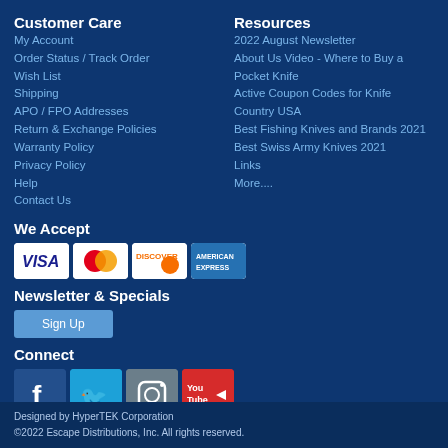Customer Care
My Account
Order Status / Track Order
Wish List
Shipping
APO / FPO Addresses
Return & Exchange Policies
Warranty Policy
Privacy Policy
Help
Contact Us
Resources
2022 August Newsletter
About Us Video - Where to Buy a Pocket Knife
Active Coupon Codes for Knife Country USA
Best Fishing Knives and Brands 2021
Best Swiss Army Knives 2021
Links
More....
We Accept
[Figure (other): Payment method icons: Visa, Mastercard, Discover, American Express]
Newsletter & Specials
Sign Up
Connect
[Figure (other): Social media icons: Facebook, Twitter, Instagram, YouTube]
Designed by HyperTEK Corporation
©2022 Escape Distributions, Inc. All rights reserved.